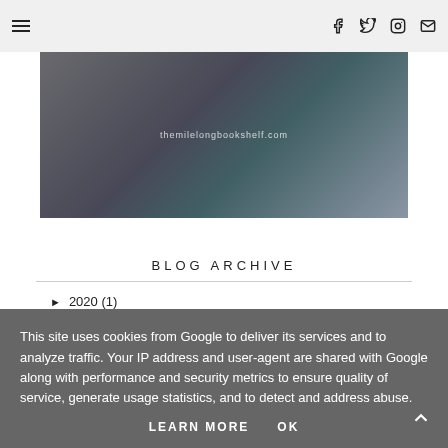Navigation bar with menu icon and social icons: Facebook, Twitter, Instagram, Email
[Figure (photo): Header photo of a person with dark hair, text overlay reading 'themilelongbookshelf.com']
BLOG ARCHIVE
► 2020 (1)
► 2019 (24)
This site uses cookies from Google to deliver its services and to analyze traffic. Your IP address and user-agent are shared with Google along with performance and security metrics to ensure quality of service, generate usage statistics, and to detect and address abuse.
LEARN MORE   OK